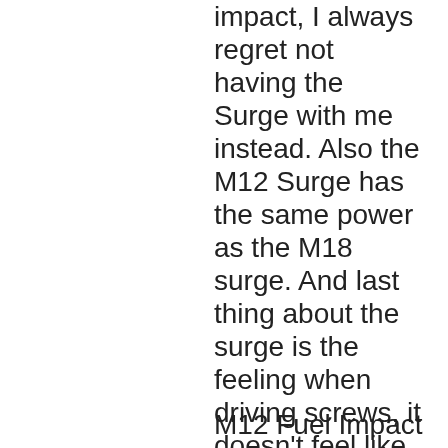impact, I always regret not having the Surge with me instead. Also the M12 Surge has the same power as the M18 surge. And last thing about the surge is the feeling when driving screws, it doesn't feel like a standard impact, but more like regular drill. It's hard to explain, but it's about the feeling not the noise.
M12 Fuel Impact